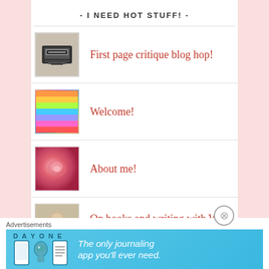- I NEED HOT STUFF! -
First page critique blog hop!
Welcome!
About me!
On books and writing with W.R. Gingell
Advertisements
[Figure (screenshot): Day One journaling app advertisement banner with text 'The only journaling app you'll ever need.']